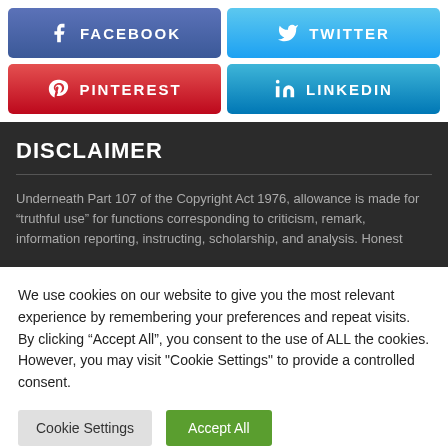[Figure (infographic): Social media share buttons: Facebook (blue-purple), Twitter (light blue), Pinterest (red), LinkedIn (blue)]
DISCLAIMER
Underneath Part 107 of the Copyright Act 1976, allowance is made for “truthful use” for functions corresponding to criticism, remark, information reporting, instructing, scholarship, and analysis. Honest
We use cookies on our website to give you the most relevant experience by remembering your preferences and repeat visits. By clicking “Accept All”, you consent to the use of ALL the cookies. However, you may visit "Cookie Settings" to provide a controlled consent.